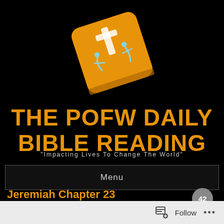[Figure (logo): Orange rounded square app icon with a white cross and stylized human figures in blue/white, tilted at an angle]
THE POFW DAILY BIBLE READING
"Impacting Lives To Change The World"
Menu
Jeremiah Chapter 23
SEPTEMBER 26, 2013 BY POFW
42
Follow ...